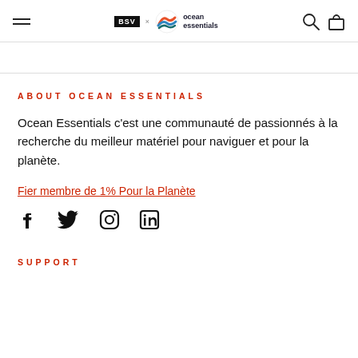BSV x ocean essentials [navigation header with hamburger menu, search icon, bag icon]
ABOUT OCEAN ESSENTIALS
Ocean Essentials c'est une communauté de passionnés à la recherche du meilleur matériel pour naviguer et pour la planète.
Fier membre de 1% Pour la Planète
[Figure (illustration): Social media icons: Facebook, Twitter, Instagram, LinkedIn]
SUPPORT